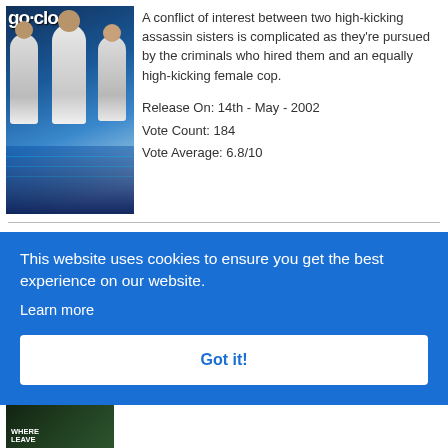[Figure (photo): Movie poster showing three women in white outfits against a blue sci-fi background with action scenes at the bottom]
A conflict of interest between two high-kicking assassin sisters is complicated as they're pursued by the criminals who hired them and an equally high-kicking female cop.
Release On: 14th - May - 2002
Vote Count: 184
Vote Average: 6.8/10
This website uses cookies to ensure you get the best experience on our website.
Learn more
Got it!
ou
, four
turn to
n -- to
along
r and a
collection of spouses, exes and might have beens. As the brothers
[Figure (photo): Second movie poster showing text WHERE LEAVE in dark green tones]